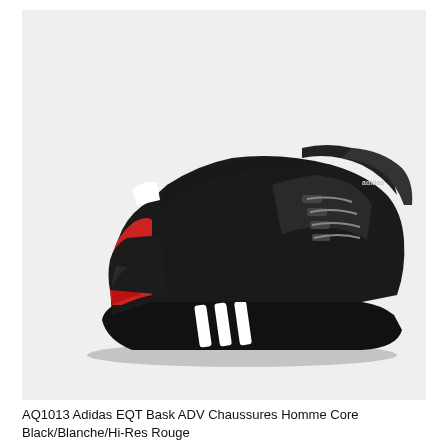[Figure (photo): Adidas EQT Bask ADV sneaker shown in lateral profile view. Shoe is predominantly black with a red heel counter, white Adidas three stripes on the midsole, black knit upper, black chunky rubber outsole.]
AQ1013 Adidas EQT Bask ADV Chaussures Homme Core Black/Blanche/Hi-Res Rouge